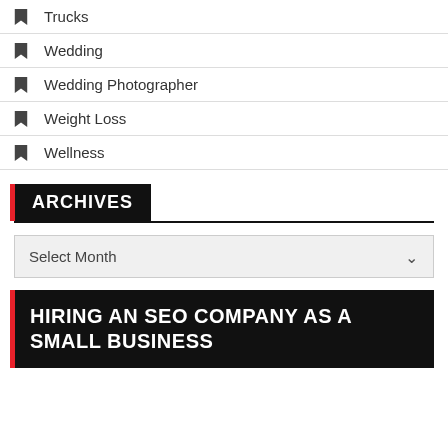Trucks
Wedding
Wedding Photographer
Weight Loss
Wellness
ARCHIVES
Select Month
HIRING AN SEO COMPANY AS A SMALL BUSINESS